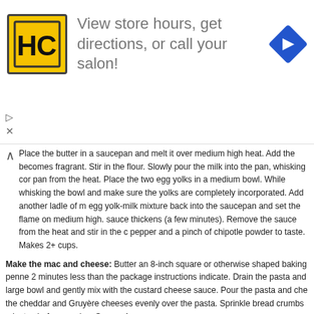[Figure (other): Advertisement banner for HC (Hair Club or similar) salon with yellow/black HC logo and blue diamond road sign icon. Text reads: View store hours, get directions, or call your salon!]
Place the butter in a saucepan and melt it over medium high heat. Add the becomes fragrant. Stir in the flour. Slowly pour the milk into the pan, whisking con pan from the heat. Place the two egg yolks in a medium bowl. While whisking the bowl and make sure the yolks are completely incorporated. Add another ladle of m egg yolk-milk mixture back into the saucepan and set the flame on medium high. sauce thickens (a few minutes). Remove the sauce from the heat and stir in the c pepper and a pinch of chipotle powder to taste. Makes 2+ cups.
Make the mac and cheese: Butter an 8-inch square or otherwise shaped baking penne 2 minutes less than the package instructions indicate. Drain the pasta and large bowl and gently mix with the custard cheese sauce. Pour the pasta and che the cheddar and Gruyère cheeses evenly over the pasta. Sprinkle bread crumbs minutes before serving. Serves 4.
more goodness from the use real butter a
[Figure (photo): Thumbnail photo of crab mac and cheese]
crab mac and cheese
[Figure (photo): Thumbnail photo of martha's mac and cheese]
martha's mac and cheese
[Figure (photo): Thumbnail photo of fondue style dish]
fond